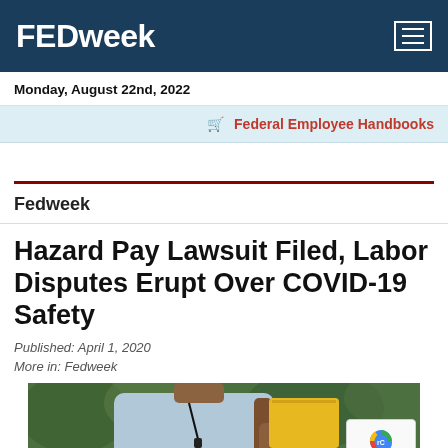FEDweek
Monday, August 22nd, 2022
Federal Employee Handbooks
Fedweek
Hazard Pay Lawsuit Filed, Labor Disputes Erupt Over COVID-19 Safety
Published: April 1, 2020
More in: Fedweek
[Figure (photo): A postal worker in a light blue uniform shirt carrying a leather mail bag and yellow envelope packages, photographed outdoors with green foliage in the background. A reCAPTCHA badge is visible in the lower right corner.]